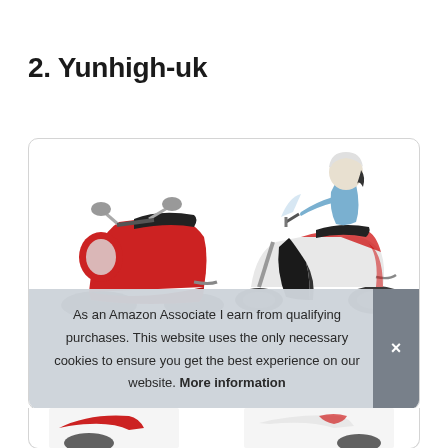2. Yunhigh-uk
[Figure (photo): Product card showing two scooter/moped images: a red vintage-style scooter on the left and a person riding a modern scooter with a leg cover on the right. Below the images is a cookie consent banner with text and a close button.]
As an Amazon Associate I earn from qualifying purchases. This website uses the only necessary cookies to ensure you get the best experience on our website. More information